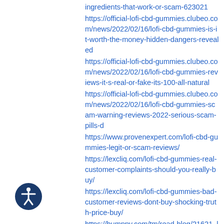ingredients-that-work-or-scam-623021
https://official-lofi-cbd-gummies.clubeo.com/news/2022/02/16/lofi-cbd-gummies-is-it-worth-the-money-hidden-dangers-revealed
https://official-lofi-cbd-gummies.clubeo.com/news/2022/02/16/lofi-cbd-gummies-reviews-it-s-real-or-fake-its-100-all-natural
https://official-lofi-cbd-gummies.clubeo.com/news/2022/02/16/lofi-cbd-gummies-scam-warning-reviews-2022-serious-scam-pills-d
https://www.provenexpert.com/lofi-cbd-gummies-legit-or-scam-reviews/
https://lexcliq.com/lofi-cbd-gummies-real-customer-complaints-should-you-really-buy/
https://lexcliq.com/lofi-cbd-gummies-bad-customer-reviews-dont-buy-shocking-truth-price-buy/
https://bumppy.com/tm/read-blog/21621_lofi-
[Figure (illustration): Accessibility icon: dark blue circle with a white stick figure in a universal accessibility pose, arms outstretched]